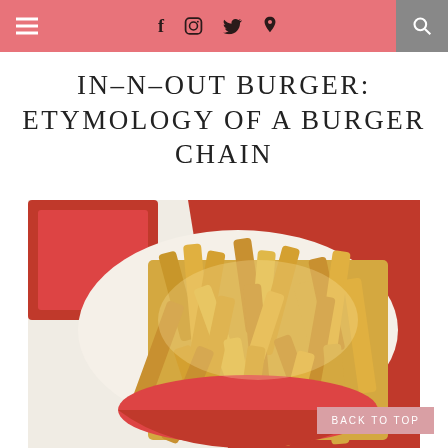☰  f  🖼  🐦  ℗  🔍
IN-N-OUT BURGER: ETYMOLOGY OF A BURGER CHAIN
[Figure (photo): Close-up photograph of In-N-Out Burger french fries in a paper holder with red In-N-Out branded wrapper visible in the background]
BACK TO TOP